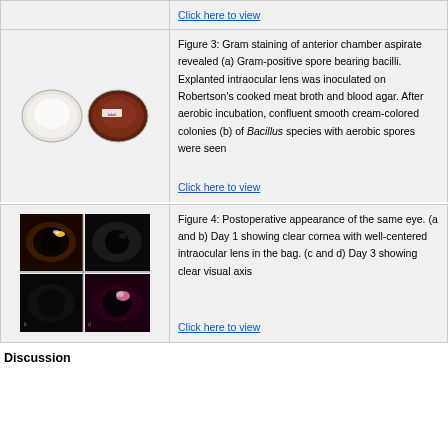[Figure (photo): Click here to view link for a previous figure (top row partial)]
Click here to view
[Figure (photo): Figure 3: Two petri dish images showing Gram staining results - white colonies and blood agar plate]
Figure 3: Gram staining of anterior chamber aspirate revealed (a) Gram-positive spore bearing bacilli. Explanted intraocular lens was inoculated on Robertson's cooked meat broth and blood agar. After aerobic incubation, confluent smooth cream-colored colonies (b) of Bacillus species with aerobic spores were seen
Click here to view
[Figure (photo): Figure 4: Four eye images in 2x2 grid showing postoperative appearance - Day 1 (a,b) and Day 3 (c,d)]
Figure 4: Postoperative appearance of the same eye. (a and b) Day 1 showing clear cornea with well-centered intraocular lens in the bag. (c and d) Day 3 showing clear visual axis
Click here to view
Discussion